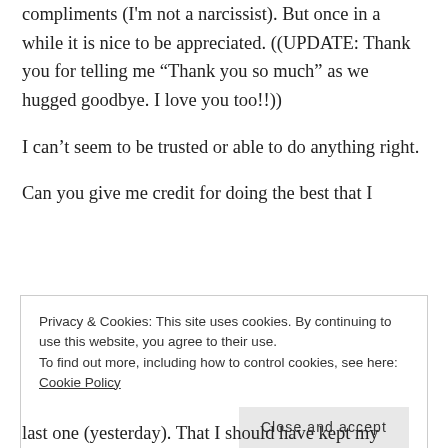compliments (I'm not a narcissist). But once in a while it is nice to be appreciated. ((UPDATE: Thank you for telling me “Thank you so much” as we hugged goodbye. I love you too!!))
I can’t seem to be trusted or able to do anything right.
Can you give me credit for doing the best that I
Privacy & Cookies: This site uses cookies. By continuing to use this website, you agree to their use.
To find out more, including how to control cookies, see here: Cookie Policy
last one (yesterday). That I should have kept my